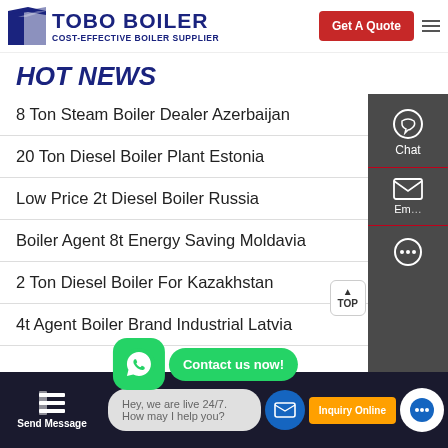[Figure (logo): TOBO BOILER logo with geometric icon and tagline COST-EFFECTIVE BOILER SUPPLIER]
HOT NEWS
8 Ton Steam Boiler Dealer Azerbaijan
20 Ton Diesel Boiler Plant Estonia
Low Price 2t Diesel Boiler Russia
Boiler Agent 8t Energy Saving Moldavia
2 Ton Diesel Boiler For Kazakhstan
4t Agent Boiler Brand Industrial Latvia
Hey, we are live 24/7. How may I help you?
Send Message
Inquiry Online